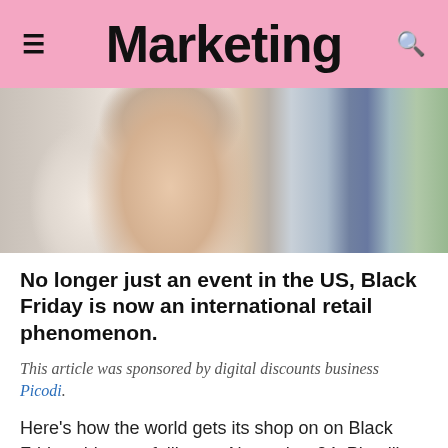Marketing
[Figure (photo): A person in a pink top surrounded by shopping bags and colorful folders/files on a light wood surface]
No longer just an event in the US, Black Friday is now an international retail phenomenon.
This article was sponsored by digital discounts business Picodi.
Here's how the world gets its shop on on Black Friday, this year falling on November 24. Picodi's 'Black Friday Around the World' analysis shows how